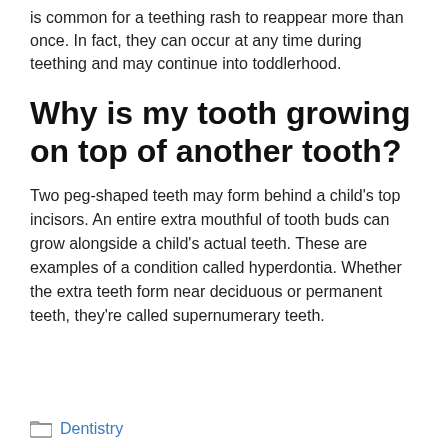is common for a teething rash to reappear more than once. In fact, they can occur at any time during teething and may continue into toddlerhood.
Why is my tooth growing on top of another tooth?
Two peg-shaped teeth may form behind a child's top incisors. An entire extra mouthful of tooth buds can grow alongside a child's actual teeth. These are examples of a condition called hyperdontia. Whether the extra teeth form near deciduous or permanent teeth, they're called supernumerary teeth.
Dentistry